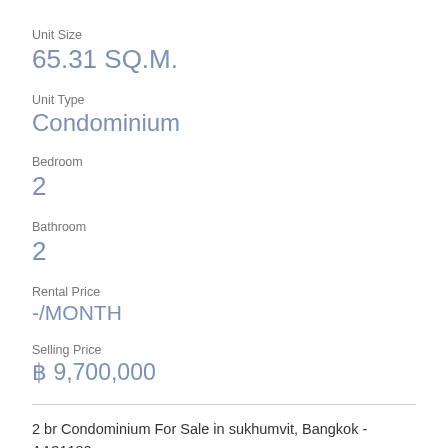Unit Size
65.31 SQ.M.
Unit Type
Condominium
Bedroom
2
Bathroom
2
Rental Price
-/MONTH
Selling Price
฿ 9,700,000
2 br Condominium For Sale in sukhumvit, Bangkok - AA31180